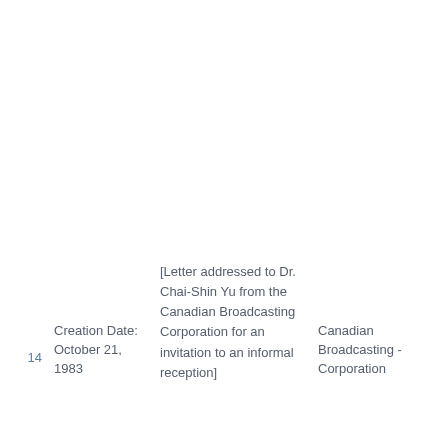| # | Creation Date | Description | Creator | Language |
| --- | --- | --- | --- | --- |
| 14 | October 21, 1983 | [Letter addressed to Dr. Chai-Shin Yu from the Canadian Broadcasting Corporation for an invitation to an informal reception] | Canadian Broadcasting Corporation | English |